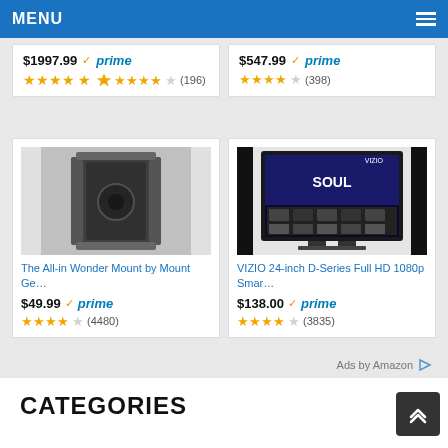MENU
$1997.99 ✓prime (196) — 4.5 stars
$547.99 ✓prime (398) — 4.5 stars
[Figure (photo): Xbox One console with accessories mount, black color]
The All-in Wonder Mount by Mount Ge…
$49.99 ✓prime (4480) — 4.5 stars
[Figure (photo): VIZIO 24-inch smart TV showing Soul movie on screen]
VIZIO 24-inch D-Series Full HD 1080p Smar…
$138.00 ✓prime (3835) — 4.5 stars
Ads by Amazon
CATEGORIES